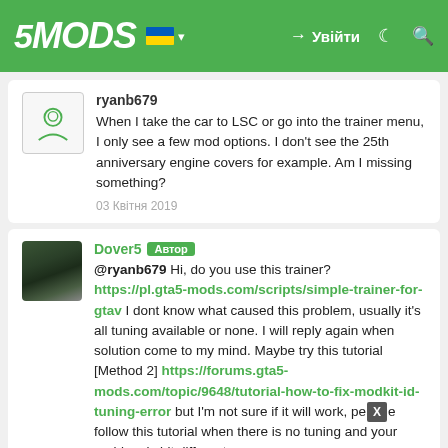5MODS | Увійти
ryanb679
When I take the car to LSC or go into the trainer menu, I only see a few mod options. I don't see the 25th anniversary engine covers for example. Am I missing something?
03 Квітня 2019
Dover5 Автор
@ryanb679 Hi, do you use this trainer? https://pl.gta5-mods.com/scripts/simple-trainer-for-gtav I dont know what caused this problem, usually it's all tuning available or none. I will reply again when solution come to my mind. Maybe try this tutorial [Method 2] https://forums.gta5-mods.com/topic/9648/tutorial-how-to-fix-modkit-id-tuning-error but I'm not sure if it will work, please follow this tutorial when there is no tuning and your problem is bit different